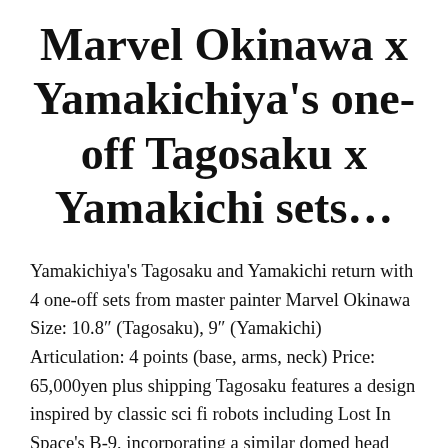Marvel Okinawa x Yamakichiya's one-off Tagosaku x Yamakichi sets…
Yamakichiya's Tagosaku and Yamakichi return with 4 one-off sets from master painter Marvel Okinawa Size: 10.8″ (Tagosaku), 9″ (Yamakichi) Articulation: 4 points (base, arms, neck) Price: 65,000yen plus shipping Tagosaku features a design inspired by classic sci fi robots including Lost In Space's B-9, incorporating a similar domed head section, pipe-like arms and a tank